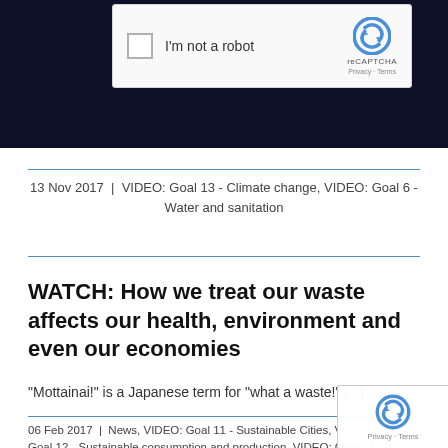[Figure (screenshot): reCAPTCHA widget showing checkbox 'I'm not a robot' with reCAPTCHA logo, Privacy and Terms links, on a dark navy background]
13 Nov 2017 | VIDEO: Goal 13 - Climate change, VIDEO: Goal 6 - Water and sanitation
WATCH: How we treat our waste affects our health, environment and even our economies
"Mottainai!" is a Japanese term for "what a waste!" [...]
06 Feb 2017 | News, VIDEO: Goal 11 - Sustainable Cities, VI... Goal 12 - Sustainable consumption and production, VIDEO: Goal 13 -